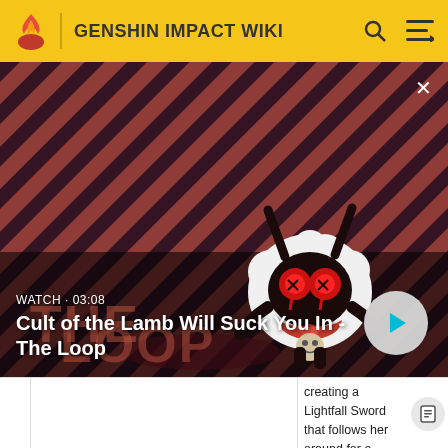GENSHIN IMPACT WIKI
[Figure (screenshot): Cult of the Lamb animated character on a red and dark purple diagonal stripe background. Text overlay: WATCH · 03:08. Title: Cult of the Lamb Will Suck You In - The Loop. Play button visible bottom right.]
creating a Lightfall Sword that follows her around for a duration of up to 7s.
While present, the Lightfall Sword